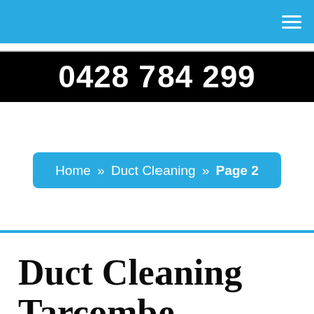0428 784 299
Home » Duct Cleaning » Page 2
Duct Cleaning Tarcombe